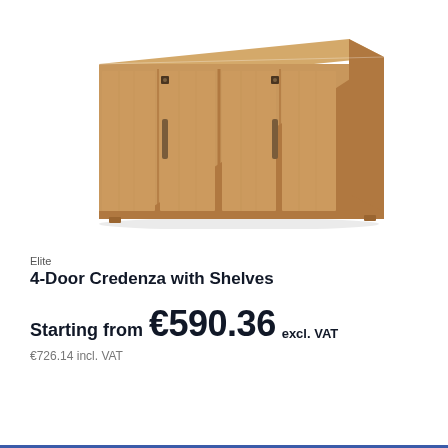[Figure (photo): A wooden 4-door credenza with shelves, light oak finish, with two sets of double doors each with vertical bar handles and small lock mechanisms on top.]
Elite
4-Door Credenza with Shelves
Starting from €590.36 excl. VAT
€726.14 incl. VAT